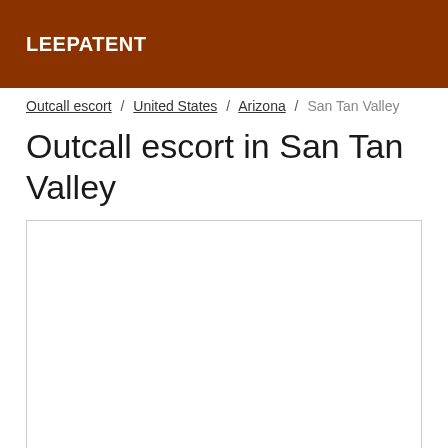LEEPATENT
Outcall escort / United States / Arizona / San Tan Valley
Outcall escort in San Tan Valley
[Figure (other): Empty white content box with border]